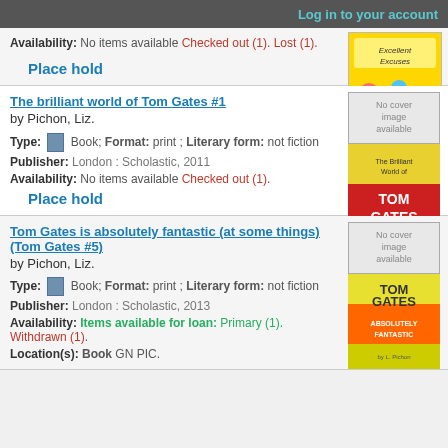Log in to your account
Availability: No items available Checked out (1). Lost (1).
Place hold
[Figure (illustration): Book cover for Excellent Excuses]
The brilliant world of Tom Gates #1
by Pichon, Liz.
Type: Book; Format: print ; Literary form: not fiction
Publisher: London : Scholastic, 2011
Availability: No items available Checked out (1).
Place hold
[Figure (illustration): Book cover for The Brilliant World of Tom Gates #1]
Tom Gates is absolutely fantastic (at some things) (Tom Gates #5)
by Pichon, Liz.
Type: Book; Format: print ; Literary form: not fiction
Publisher: London : Scholastic, 2013
Availability: Items available for loan: Primary (1). Withdrawn (1).
Location(s): Book GN PIC.
[Figure (illustration): Book cover for Tom Gates is Absolutely Fantastic]